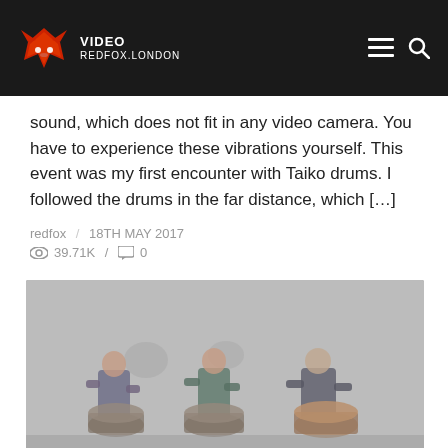VIDEO REDFOX.LONDON
sound, which does not fit in any video camera. You have to experience these vibrations yourself. This event was my first encounter with Taiko drums. I followed the drums in the far distance, which […]
redfox / 18TH MAY 2017
39.71K / 0
[Figure (photo): Three drummers performing on stage, playing taiko or similar drums. The image has a dark, hazy stage atmosphere with dim lighting. The performers are visible in the foreground.]